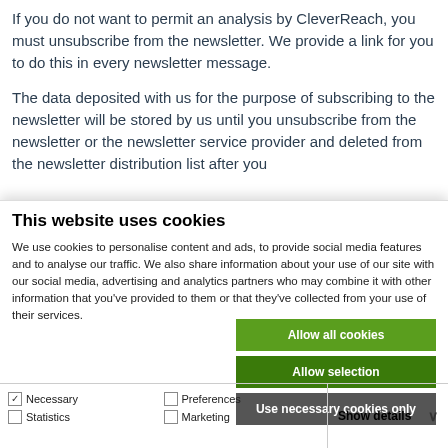If you do not want to permit an analysis by CleverReach, you must unsubscribe from the newsletter. We provide a link for you to do this in every newsletter message.
The data deposited with us for the purpose of subscribing to the newsletter will be stored by us until you unsubscribe from the newsletter or the newsletter service provider and deleted from the newsletter distribution list after you
This website uses cookies
We use cookies to personalise content and ads, to provide social media features and to analyse our traffic. We also share information about your use of our site with our social media, advertising and analytics partners who may combine it with other information that you've provided to them or that they've collected from your use of their services.
Allow all cookies
Allow selection
Use necessary cookies only
Necessary | Preferences | Statistics | Marketing | Show details